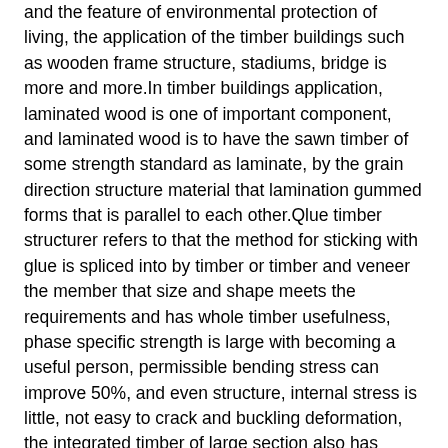and the feature of environmental protection of living, the application of the timber buildings such as wooden frame structure, stadiums, bridge is more and more.In timber buildings application, laminated wood is one of important component, and laminated wood is to have the sawn timber of some strength standard as laminate, by the grain direction structure material that lamination gummed forms that is parallel to each other.Qlue timber structurer refers to that the method for sticking with glue is spliced into by timber or timber and veneer the member that size and shape meets the requirements and has whole timber usefulness, phase specific strength is large with becoming a useful person, permissible bending stress can improve 50%, and even structure, internal stress is little, not easy to crack and buckling deformation, the integrated timber of large section also has higher fire resistance.Glue laminated wood member all adopts the small-sized sawn timber gummed of demarcating through stress grading to form, and in the prior art, the mounting method of laminated wood beam column is as follows: first in the perforate of laminated wood junction, process, then inserting bolt is with wooden splint or the fastening glue